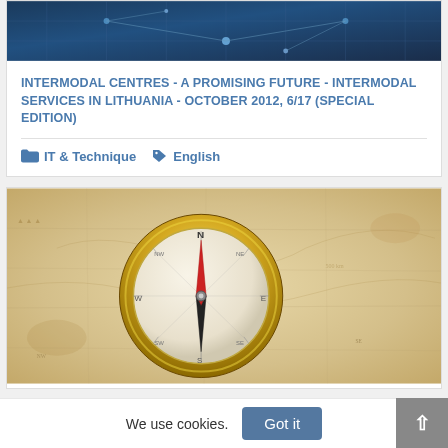[Figure (photo): Blue-toned network/technology themed banner image with geometric lines and nodes]
INTERMODAL CENTRES - A PROMISING FUTURE - INTERMODAL SERVICES IN LITHUANIA - OCTOBER 2012, 6/17 (SPECIAL EDITION)
IT & Technique   English
[Figure (photo): Close-up photograph of a gold compass resting on an aged parchment map]
We use cookies.